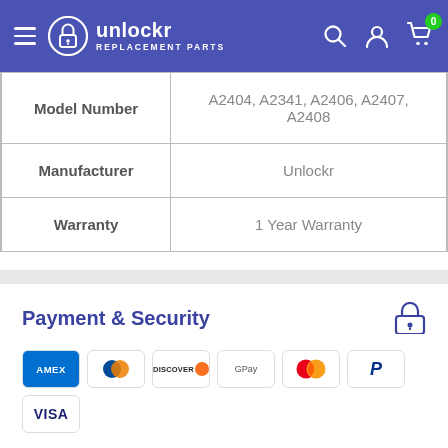unlockr REPLACEMENT PARTS
| Model Number | A2404, A2341, A2406, A2407, A2408 |
| Manufacturer | Unlockr |
| Warranty | 1 Year Warranty |
Payment & Security
[Figure (other): Payment method logos: Amex, Diners Club, Discover, Google Pay, Mastercard, PayPal, Visa]
Your payment information is processed securely. We do not store credit card details nor have access to your credit card information.